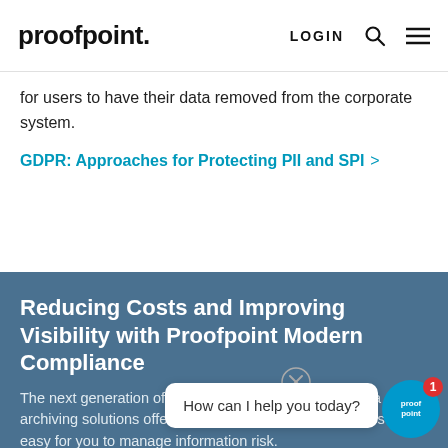proofpoint. LOGIN
for users to have their data removed from the corporate system.
GDPR: Approaches for Protecting PII and SPI >
Reducing Costs and Improving Visibility with Proofpoint Modern Compliance
The next generation of archiving is here. Proofpoint data archiving solutions offers modern compliance that makes it easy for you to manage information risk.
Read More >
How can I help you today?